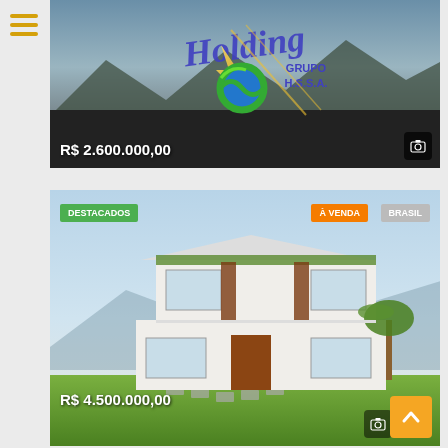[Figure (screenshot): Mobile real estate app screenshot showing two property listings. First listing shows 'Holding Grupo H.S.S.A.' logo over a rooftop/poolside scene with price R$ 2.600.000,00. Second listing shows a modern white two-story house with tags DESTACADOS, À VENDA, BRASIL and price R$ 4.500.000,00.]
R$ 2.600.000,00
DESTACADOS
À VENDA
BRASIL
R$ 4.500.000,00